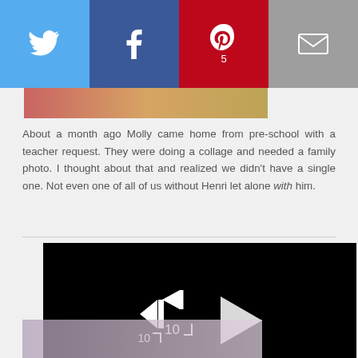[Figure (screenshot): Social sharing bar with Twitter (blue), Facebook (dark blue), Pinterest (red, count 5), and Email (gray) buttons]
About a month ago Molly came home from pre-school with a teacher request. They were doing a collage and needed a family photo. I thought about that and realized we didn't have a single one. Not even one of all of us without Henri let alone with him.
[Figure (screenshot): Embedded video player showing a black screen with rewind-10 button and play button, progress bar at bottom showing 00:00 / 01:00, mute icon, and fullscreen icon]